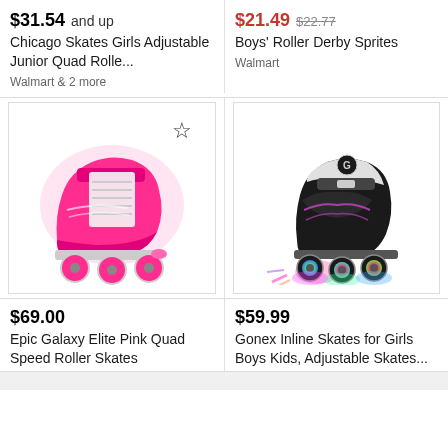$31.54 and up
Chicago Skates Girls Adjustable Junior Quad Rolle...
Walmart & 2 more
$21.49  $22.77
Boys' Roller Derby Sprites
Walmart
[Figure (photo): Pink quad roller skate with pink wheels and white laces, with a star/favorite icon in the top right corner]
[Figure (photo): Black and white inline skate with colorful light-up wheels in pink, green, blue colors]
$69.00
Epic Galaxy Elite Pink Quad Speed Roller Skates
Walmart
$59.99
Gonex Inline Skates for Girls Boys Kids, Adjustable Skates...
Amazon